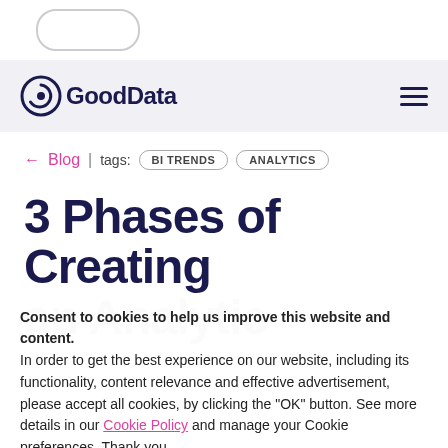[Figure (logo): GoodData logo with circular icon and wordmark in dark navy blue]
← Blog | tags: BI TRENDS ANALYTICS
3 Phases of Creating an Analytic Application
Consent to cookies to help us improve this website and content. In order to get the best experience on our website, including its functionality, content relevance and effective advertisement, please accept all cookies, by clicking the "OK" button. See more details in our Cookie Policy and manage your Cookie preferences. Thank you.
Written by GoodData Author | Jun 24, 2020